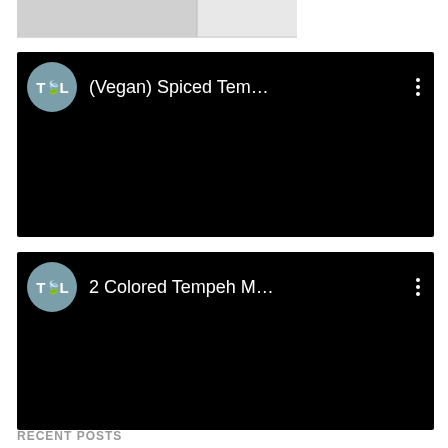[Figure (screenshot): Partial top image, appears to be a cropped photo with white and light elements]
[Figure (screenshot): YouTube-style video card with black background, showing channel avatar with T leaf L logo and title '(Vegan) Spiced Tem...' with three-dot menu]
[Figure (screenshot): YouTube-style video card with black background, showing channel avatar with T leaf L logo and title '2 Colored Tempeh M...' with three-dot menu]
RECENT POSTS